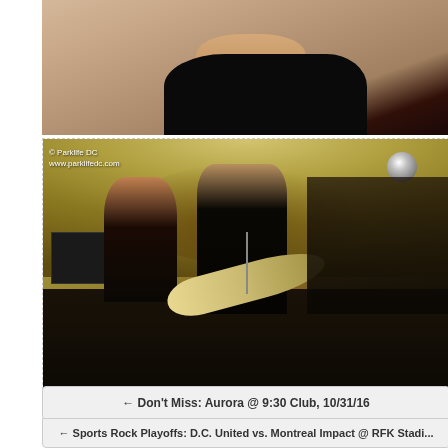[Figure (photo): Close-up photo of a performer in a black dotted/patterned shirt, cropped at neck/shoulder level]
[Figure (photo): Concert photo at a venue with vaulted ceiling. Band performing on stage with guitar players and vocalist. Audience visible on right. Disco ball upper right. Watermark: © Parklife DC / www.parklifedc.com]
© Parklife DC
www.parklifedc.com
← Don't Miss: Aurora @ 9:30 Club, 10/31/16
← Sports Rock Playoffs: D.C. United vs. Montreal Impact @ RFK Stadi...